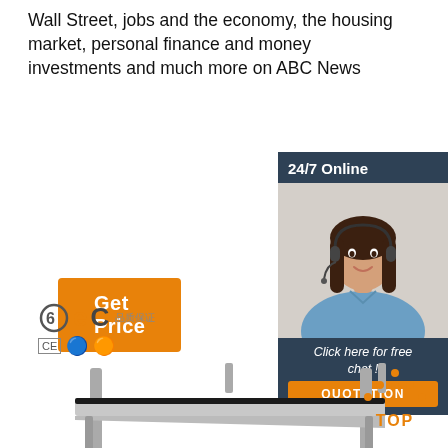Wall Street, jobs and the economy, the housing market, personal finance and money investments and much more on ABC News
[Figure (other): Orange 'Get Price' button]
[Figure (other): 24/7 Online chat widget with smiling woman wearing headset, italic text 'Click here for free chat!' and orange QUOTATION button]
[Figure (logo): 6eC brand logo with CE and certification icons]
[Figure (photo): Stainless steel shelf/rack unit with two shelves on a metal frame]
[Figure (other): Orange and dark 'TOP' back-to-top button with arrow dots icon]